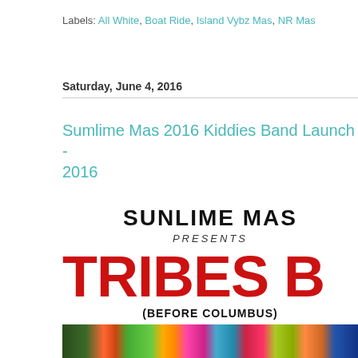Labels: All White, Boat Ride, Island Vybz Mas, NR Mas
Saturday, June 4, 2016
Sumlime Mas 2016 Kiddies Band Launch - 2016
[Figure (illustration): Promotional image for Sunlime Mas presenting 'Tribes B...' (Before Columbus) kiddies band launch, featuring bold red text 'TRIBES B' on white background, with a photo strip of carnival participants in colorful costumes at the bottom.]